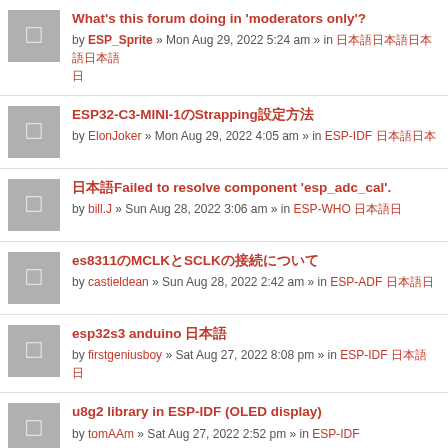What's this forum doing in 'moderators only'? by ESP_Sprite » Mon Aug 29, 2022 5:24 am » in 日本語 日
ESP32-C3-MINI-1のStrapping設定方法 by ElonJoker » Mon Aug 29, 2022 4:05 am » in ESP-IDF 日本語
日本語Failed to resolve component 'esp_adc_cal'. by bill.J » Sun Aug 28, 2022 3:06 am » in ESP-WHO 日本語
es8311のMCLKとSCLKの接続について by castieldean » Sun Aug 28, 2022 2:42 am » in ESP-ADF 日本語
esp32s3 anduino 日本語 by firstgeniusboy » Sat Aug 27, 2022 8:08 pm » in ESP-IDF 日本語 日
u8g2 library in ESP-IDF (OLED display) by tomAAm » Sat Aug 27, 2022 2:52 pm » in ESP-IDF